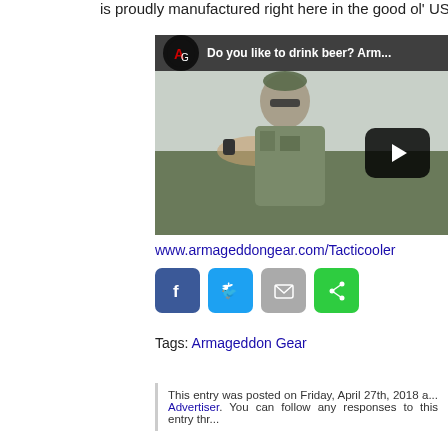is proudly manufactured right here in the good ol' USA
[Figure (screenshot): YouTube video thumbnail showing a man in camouflage holding a beer can, with title 'Do you like to drink beer? Arm...' and a play button overlay]
www.armageddongear.com/Tacticooler
[Figure (infographic): Social share buttons: Facebook (blue), Twitter (light blue), Email (gray), Share (green)]
Tags: Armageddon Gear
This entry was posted on Friday, April 27th, 2018 a... Advertiser. You can follow any responses to this entry thr...